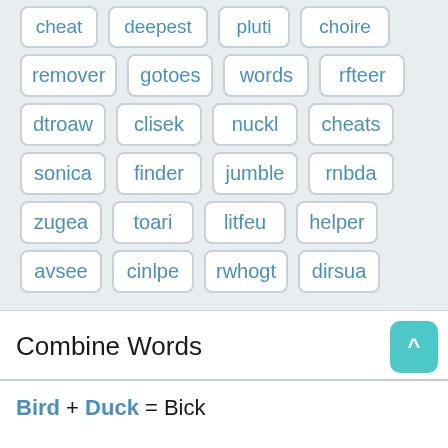cheat
deepest
pluti
choire
remover
gotoes
words
rfteer
dtroaw
clisek
nuckl
cheats
sonica
finder
jumble
rnbda
zugea
toari
litfeu
helper
avsee
cinlpe
rwhogt
dirsua
Combine Words
Bird + Duck = Bick